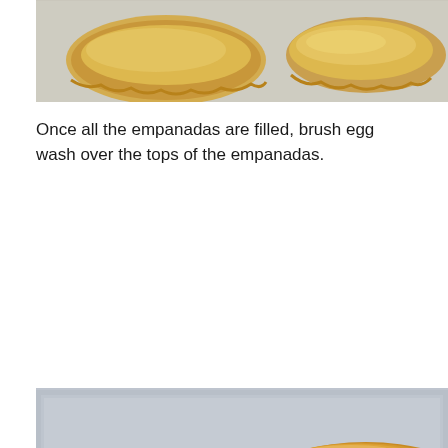[Figure (photo): Close-up photo of two raw empanadas on parchment paper, one with crimped edges and egg wash visible]
Once all the empanadas are filled, brush egg wash over the tops of the empanadas.
[Figure (photo): Six baked golden-brown empanadas arranged in three rows of two on a parchment-lined baking sheet]